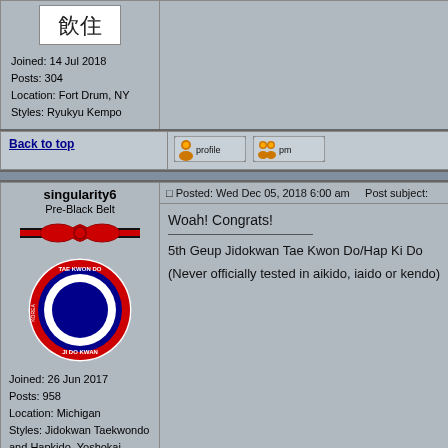| User Info | Post Content |
| --- | --- |
| Joined: 14 Jul 2018
Posts: 304
Location: Fort Drum, NY
Styles: Ryukyu Kempo | (top post content area) |
| Back to top | [profile] [pm] |
| singularity6
Pre-Black Belt
Joined: 26 Jun 2017
Posts: 958
Location: Michigan
Styles: Jidokwan Taekwondo and Hapkido, Yoshokai Aikido, ZNIR Iaido, Kendo | Posted: Wed Dec 05, 2018 6:00 am   Post subject:
Woah! Congrats!
5th Geup Jidokwan Tae Kwon Do/Hap Ki Do
(Never officially tested in aikido, iaido or kendo) |
| Back to top | [profile] [pm] |